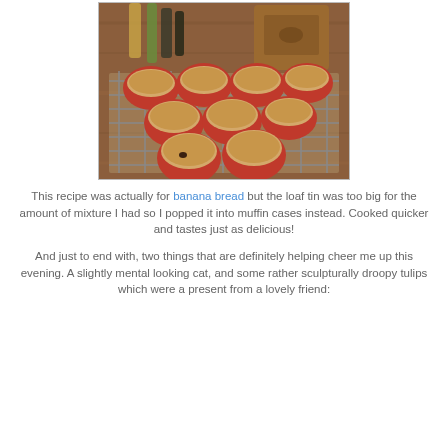[Figure (photo): Photo of banana bread muffins in red silicone cases sitting on a wire cooling rack on a wooden surface, with bottles and a wooden box visible in the background.]
This recipe was actually for banana bread but the loaf tin was too big for the amount of mixture I had so I popped it into muffin cases instead. Cooked quicker and tastes just as delicious!
And just to end with, two things that are definitely helping cheer me up this evening. A slightly mental looking cat, and some rather sculpturally droopy tulips which were a present from a lovely friend: